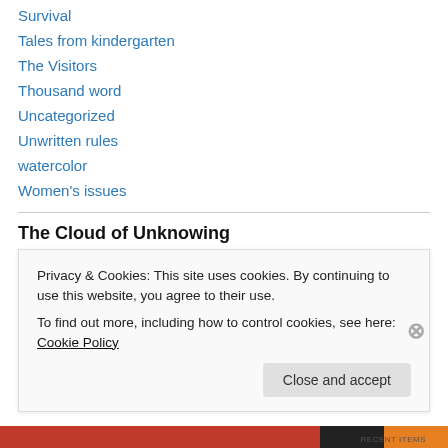Survival
Tales from kindergarten
The Visitors
Thousand word
Uncategorized
Unwritten rules
watercolor
Women's issues
The Cloud of Unknowing
abuse abusive relationships acceptance addiction art art as a
Privacy & Cookies: This site uses cookies. By continuing to use this website, you agree to their use.
To find out more, including how to control cookies, see here: Cookie Policy